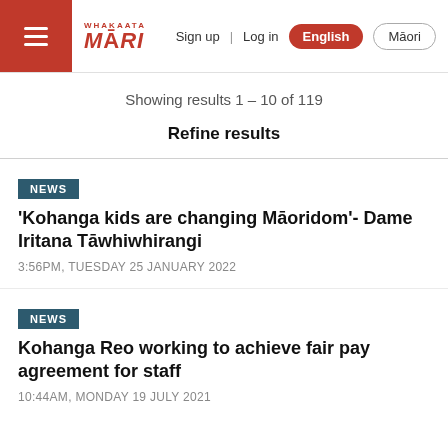Whakaata Māori — Sign up | Log in | English | Māori
Showing results 1 - 10 of 119
Refine results
'Kohanga kids are changing Māoridom'- Dame Iritana Tāwhiwhirangi
3:56PM, TUESDAY 25 JANUARY 2022
Kohanga Reo working to achieve fair pay agreement for staff
10:44AM, MONDAY 19 JULY 2021